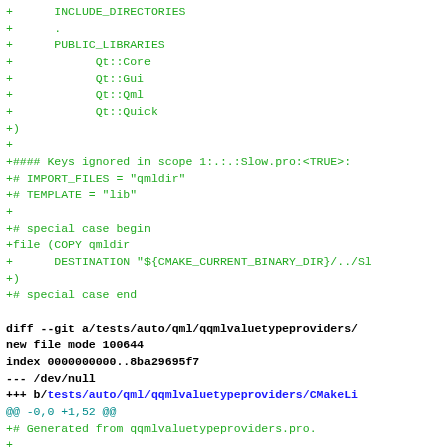Code diff showing CMakeLists.txt changes including PUBLIC_LIBRARIES (Qt::Core, Qt::Gui, Qt::Qml, Qt::Quick), keys ignored in scope, special case file copy, and new file diff for qqmlvaluetypeproviders/CMakeLists.txt